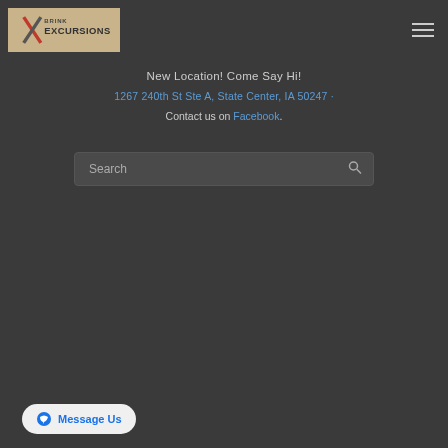[Figure (logo): Brink Excursions logo on tan/beige background with X mark]
New Location! Come Say Hi!
1267 240th St Ste A, State Center, IA 50247 ·
Contact us on Facebook.
Search
Message Us